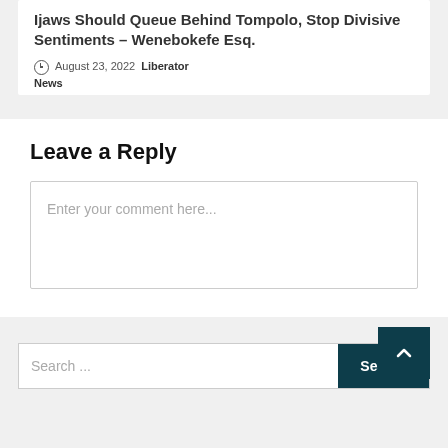Ijaws Should Queue Behind Tompolo, Stop Divisive Sentiments – Wenebokefe Esq.
August 23, 2022  Liberator News
Leave a Reply
Enter your comment here...
Search ...